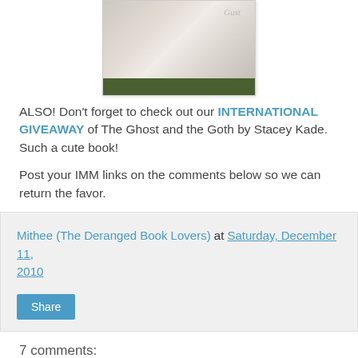[Figure (photo): A photograph of a book with handwriting/signature on the back, placed on a green surface. The bottom strip shows dark green color.]
ALSO! Don't forget to check out our INTERNATIONAL GIVEAWAY of The Ghost and the Goth by Stacey Kade. Such a cute book!
Post your IMM links on the comments below so we can return the favor.
Mithee (The Deranged Book Lovers) at Saturday, December 11, 2010
Share
7 comments:
Melissa (i swim for oceans) December 12, 2010 at 1:08 AM